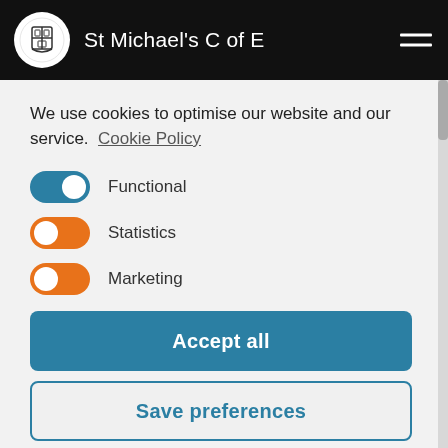St Michael's C of E
We use cookies to optimise our website and our service. Cookie Policy
Functional
Statistics
Marketing
Accept all
Save preferences